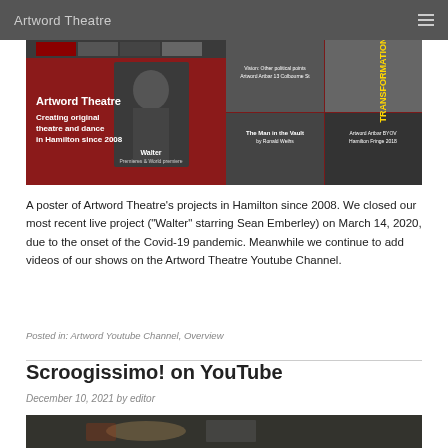Artword Theatre
[Figure (photo): A collage banner image for Artword Theatre showing various show posters and photos on a dark red background, with text 'Artword Theatre – Creating original theatre and dance in Hamilton since 2008' and a central photo labeled 'Walter']
A poster of Artword Theatre's projects in Hamilton since 2008. We closed our most recent live project (“Walter” starring Sean Emberley) on March 14, 2020, due to the onset of the Covid-19 pandemic. Meanwhile we continue to add videos of our shows on the Artword Theatre Youtube Channel.
Posted in: Artword Youtube Channel, Overview
Scroogissimo! on YouTube
December 10, 2021 by editor
[Figure (photo): Bottom strip of an image, dark background with partial view of objects, likely a still from the Scroogissimo! show]